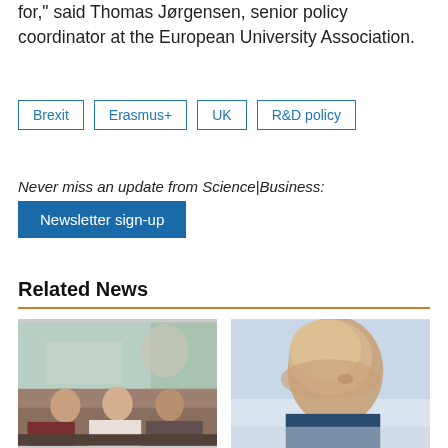for," said Thomas Jørgensen, senior policy coordinator at the European University Association.
Brexit
Erasmus+
UK
R&D policy
Never miss an update from Science|Business:
Newsletter sign-up
Related News
[Figure (photo): Panel discussion at a conference, three people seated at a table with a projection screen behind them]
[Figure (photo): Portrait of a blonde woman looking upward, outdoors]